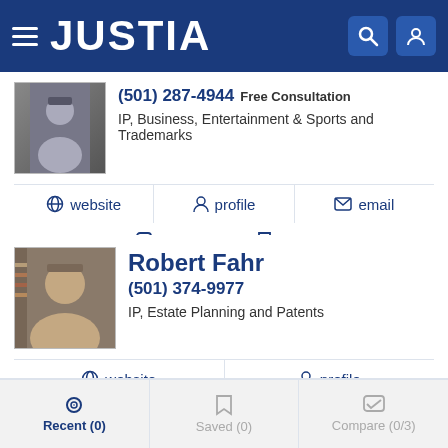JUSTIA
(501) 287-4944 Free Consultation
IP, Business, Entertainment & Sports and Trademarks
website | profile | email
Compare  Save
Robert Fahr
(501) 374-9977
IP, Estate Planning and Patents
website | profile
Compare  Save
Recent (0)  Saved (0)  Compare (0/3)